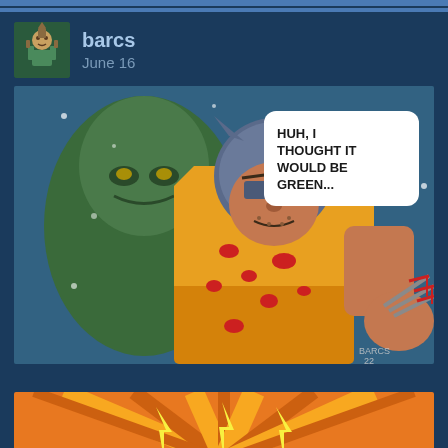barcs
June 16
[Figure (illustration): Comic illustration of Wolverine in his yellow costume covered in blood, with claws extended on one hand. He looks determined and has a speech bubble saying 'HUH, I THOUGHT IT WOULD BE GREEN...' Behind him looms a large green figure (Hulk). The scene has a snowy blue background.]
[Figure (illustration): Bottom portion of a comic panel showing orange and yellow radiating lines/energy bursts pattern, suggesting an explosion or impact effect.]